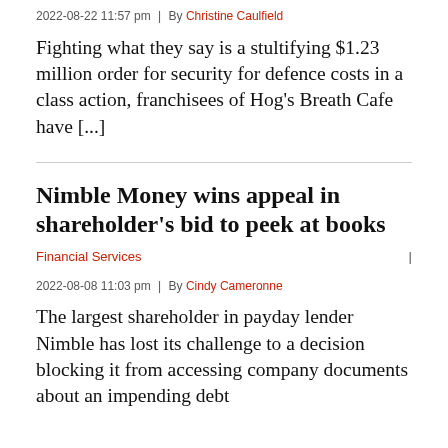2022-08-22 11:57 pm | By Christine Caulfield
Fighting what they say is a stultifying $1.23 million order for security for defence costs in a class action, franchisees of Hog's Breath Cafe have [...]
Nimble Money wins appeal in shareholder's bid to peek at books
Financial Services | 2022-08-08 11:03 pm | By Cindy Cameronne
The largest shareholder in payday lender Nimble has lost its challenge to a decision blocking it from accessing company documents about an impending debt